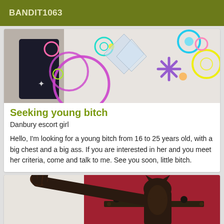BANDIT1063
[Figure (photo): Colorful neon circle/ring decorations and geometric shapes on a light background, partial view of a person in dark clothing]
Seeking young bitch
Danbury escort girl
Hello, I'm looking for a young bitch from 16 to 25 years old, with a big chest and a big ass. If you are interested in her and you meet her criteria, come and talk to me. See you soon, little bitch.
[Figure (photo): Bronze or dark metal sculpture/statue with animal head (dog-like) wearing bondage gear, arms outstretched, against a red wall with a coat hook rack]